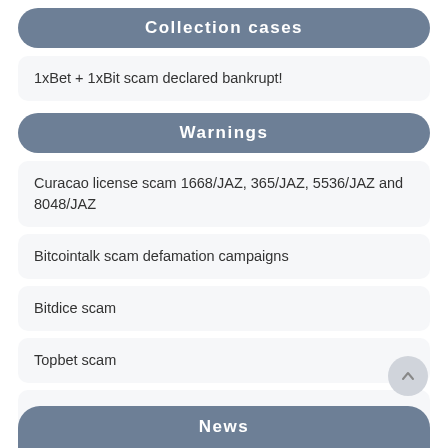Collection cases
1xBet + 1xBit scam declared bankrupt!
Warnings
Curacao license scam 1668/JAZ, 365/JAZ, 5536/JAZ and 8048/JAZ
Bitcointalk scam defamation campaigns
Bitdice scam
Topbet scam
BetBit scam
News